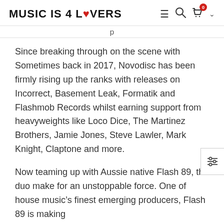MUSIC IS 4 LOVERS
Since breaking through on the scene with Sometimes back in 2017, Novodisc has been firmly rising up the ranks with releases on Incorrect, Basement Leak, Formatik and Flashmob Records whilst earning support from heavyweights like Loco Dice, The Martinez Brothers, Jamie Jones, Steve Lawler, Mark Knight, Claptone and more.
Now teaming up with Aussie native Flash 89, the duo make for an unstoppable force. One of house music’s finest emerging producers, Flash 89 is making